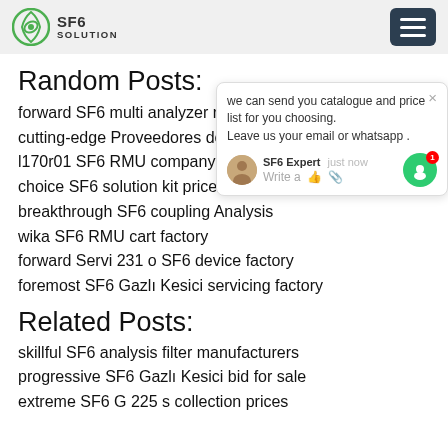SF6 SOLUTION
Random Posts:
forward SF6 multi analyzer reuse pricing
cutting-edge Proveedores de SF6 dispo... rers
l170r01 SF6 RMU company prices
choice SF6 solution kit prices
breakthrough SF6 coupling Analysis
wika SF6 RMU cart factory
forward Servi 231 o SF6 device factory
foremost SF6 Gazlı Kesici servicing factory
Related Posts:
skillful SF6 analysis filter manufacturers
progressive SF6 Gazlı Kesici bid for sale
extreme SF6 G 225 s collection prices